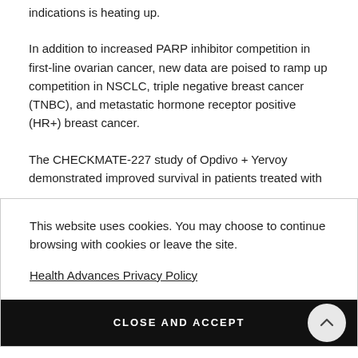indications is heating up.
In addition to increased PARP inhibitor competition in first-line ovarian cancer, new data are poised to ramp up competition in NSCLC, triple negative breast cancer (TNBC), and metastatic hormone receptor positive (HR+) breast cancer.
The CHECKMATE-227 study of Opdivo + Yervoy demonstrated improved survival in patients treated with
This website uses cookies. You may choose to continue browsing with cookies or leave the site.
Health Advances Privacy Policy
CLOSE AND ACCEPT